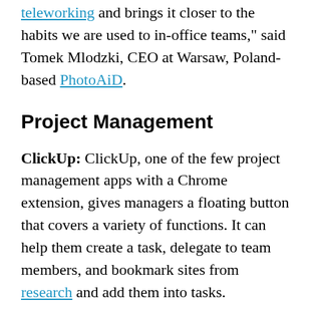teleworking and brings it closer to the habits we are used to in-office teams," said Tomek Mlodzki, CEO at Warsaw, Poland-based PhotoAiD.
Project Management
ClickUp: ClickUp, one of the few project management apps with a Chrome extension, gives managers a floating button that covers a variety of functions. It can help them create a task, delegate to team members, and bookmark sites from research and add them into tasks.
"My favorite feature is how it helps to delegate tasks straight from the browser to each individual within my team," said Mike